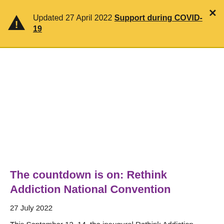Updated 27 April 2022 Support during COVID-19
The countdown is on: Rethink Addiction National Convention
27 July 2022
This September 12–14, the inaugural Rethink Addiction National Convention will call for a national coordinated response to